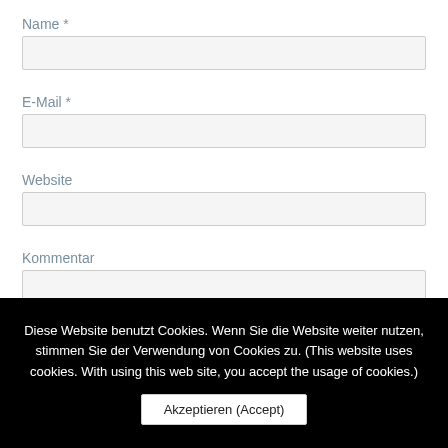Name *
[Figure (screenshot): Empty text input field for Name]
E-Mail *
[Figure (screenshot): Empty text input field for E-Mail]
Website
[Figure (screenshot): Empty text input field for Website]
Kommentar
[Figure (screenshot): Empty textarea field for Kommentar]
Diese Website benutzt Cookies. Wenn Sie die Website weiter nutzen, stimmen Sie der Verwendung von Cookies zu. (This website uses cookies. With using this web site, you accept the usage of cookies.)
Akzeptieren (Accept)